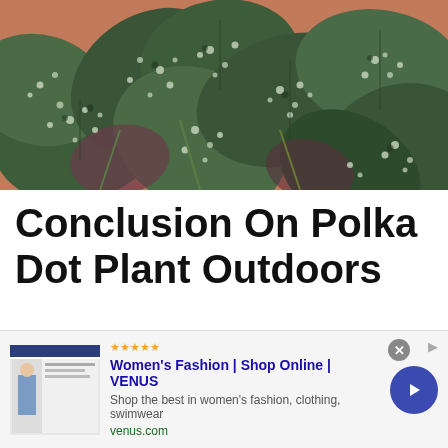[Figure (photo): Close-up photo of polka dot plant (Hypoestes) leaves with dark green leaves covered in white/silver speckled dots, some reddish-purple undersides visible, photographed outdoors with terracotta pot visible in background]
Conclusion On Polka Dot Plant Outdoors
To draw up, you can definitely grow your Polka dot plant outside. However, it can be difficult because the
[Figure (screenshot): Advertisement banner for Women's Fashion | Shop Online | VENUS. Shows thumbnail of fashion website screenshot with woman in blue outfit. Text: Shop the best in women's fashion, clothing, swimwear. venus.com. Has close button and arrow button.]